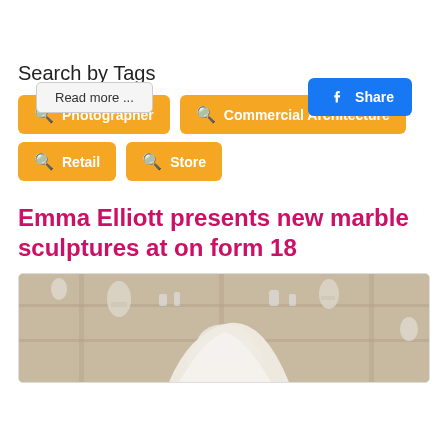Read more ...
Share
Search by Tags
Photographer
Commercial Architecture
Retail
Store
Emma Elliott presents new marble sculptures at on form 18
[Figure (photo): Marble sculptures displayed in a studio or gallery setting, showing various white marble pieces on shelves and stands]